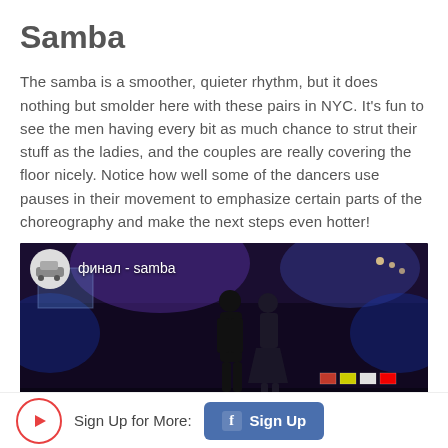Samba
The samba is a smoother, quieter rhythm, but it does nothing but smolder here with these pairs in NYC. It's fun to see the men having every bit as much chance to strut their stuff as the ladies, and the couples are really covering the floor nicely. Notice how well some of the dancers use pauses in their movement to emphasize certain parts of the choreography and make the next steps even hotter!
[Figure (screenshot): Video thumbnail showing ballroom dancers performing samba at a competition in NYC, with purple stage lighting and audience. Channel badge shows 'финал - samba' text with a car logo icon. Red YouTube play button visible at bottom center.]
Sign Up for More:
Sign Up